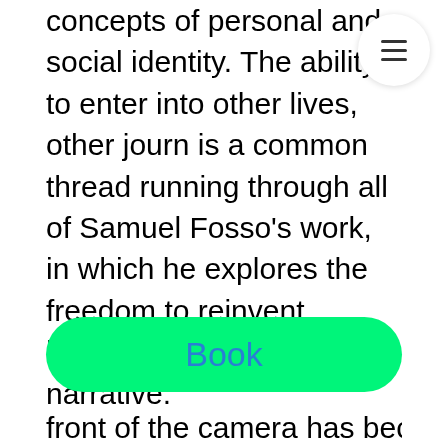concepts of personal and social identity. The ability to enter into other lives, other journeys, is a common thread running through all of Samuel Fosso's work, in which he explores the freedom to reinvent himself and create his own narrative.
Although the genre of autofiction, and more specifically self-portraiture, has been widely used by artists since the 1970s, Samuel Fosso gives this practice a new dimension, one that is all at once political and historical, fi...
Book
front of the camera has become for him not